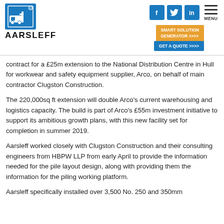[Figure (logo): Aarsleff logo with blue icon and bold wordmark]
contract for a £25m extension to the National Distribution Centre in Hull for workwear and safety equipment supplier, Arco, on behalf of main contractor Clugston Construction.
The 220,000sq ft extension will double Arco's current warehousing and logistics capacity. The build is part of Arco's £55m investment initiative to support its ambitious growth plans, with this new facility set for completion in summer 2019.
Aarsleff worked closely with Clugston Construction and their consulting engineers from HBPW LLP from early April to provide the information needed for the pile layout design, along with providing them the information for the piling working platform.
Aarsleff specifically installed over 3,500 No. 250 and 350mm